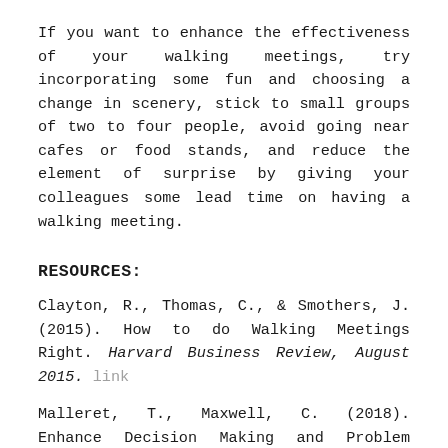If you want to enhance the effectiveness of your walking meetings, try incorporating some fun and choosing a change in scenery, stick to small groups of two to four people, avoid going near cafes or food stands, and reduce the element of surprise by giving your colleagues some lead time on having a walking meeting.
RESOURCES:
Clayton, R., Thomas, C., & Smothers, J. (2015). How to do Walking Meetings Right. Harvard Business Review, August 2015. link
Malleret, T., Maxwell, C. (2018). Enhance Decision Making and Problem Solving by Walking. Wharton Business School, Sep 2018. link